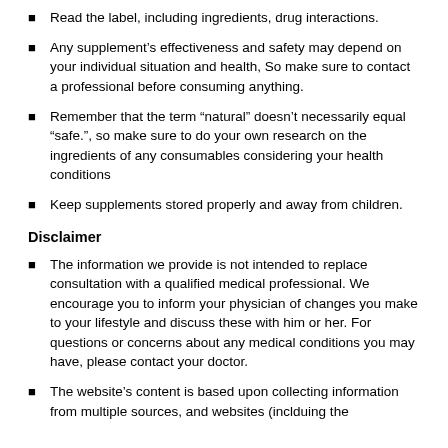Read the label, including ingredients, drug interactions.
Any supplement’s effectiveness and safety may depend on your individual situation and health, So make sure to contact a professional before consuming anything.
Remember that the term “natural” doesn’t necessarily equal “safe.”, so make sure to do your own research on the ingredients of any consumables considering your health conditions
Keep supplements stored properly and away from children.
Disclaimer
The information we provide is not intended to replace consultation with a qualified medical professional. We encourage you to inform your physician of changes you make to your lifestyle and discuss these with him or her. For questions or concerns about any medical conditions you may have, please contact your doctor.
The website’s content is based upon collecting information from multiple sources, and websites (inclduing the